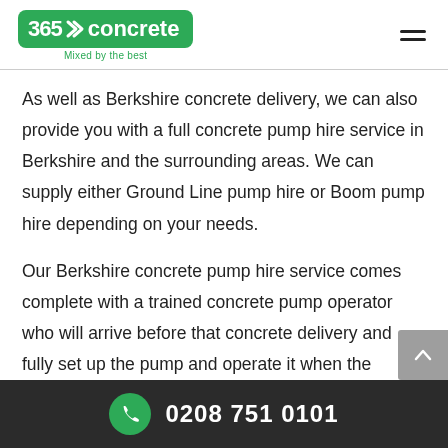[Figure (logo): 365 concrete logo with green rounded rectangle background, chevron icon, and tagline 'Mixed by the best']
As well as Berkshire concrete delivery, we can also provide you with a full concrete pump hire service in Berkshire and the surrounding areas. We can supply either Ground Line pump hire or Boom pump hire depending on your needs.
Our Berkshire concrete pump hire service comes complete with a trained concrete pump operator who will arrive before that concrete delivery and fully set up the pump and operate it when the concrete arrives, ensuring your concrete gets to where it needs to be quickly and
0208 751 0101